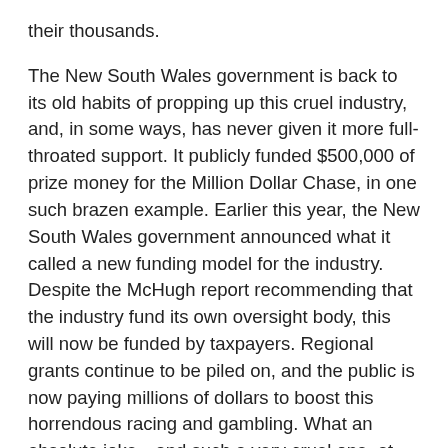their thousands.
The New South Wales government is back to its old habits of propping up this cruel industry, and, in some ways, has never given it more full-throated support. It publicly funded $500,000 of prize money for the Million Dollar Chase, in one such brazen example. Earlier this year, the New South Wales government announced what it called a new funding model for the industry. Despite the McHugh report recommending that the industry fund its own oversight body, this will now be funded by taxpayers. Regional grants continue to be piled on, and the public is now paying millions of dollars to boost this horrendous racing and gambling. What an absolute joke—and such a very cruel one, at that. While, sadly, the racing continues, we have exposed this industry for what it is: dirty, toxic and abusive. And we will not stop till it is shut down.
Enormous concern continues over the plight of greyhounds being exported from Australia for racing